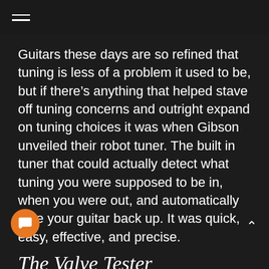≡
Guitars these days are so refined that tuning is less of a problem it used to be, but if there's anything that helped stave off tuning concerns and outright expand on tuning choices it was when Gibson unveiled their robot tuner. The built in tuner that could actually detect what tuning you were supposed to be in, when you were out, and automatically tune your guitar back up. It was quick, easy, effective, and precise.
The Valve Tester